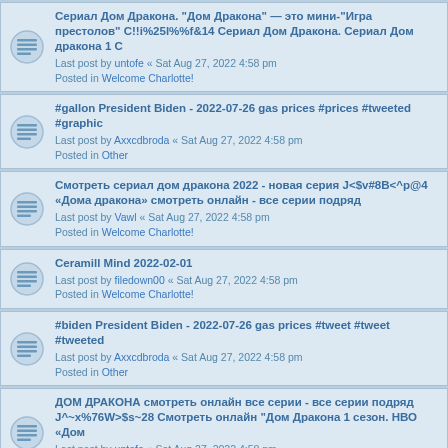Сериал Дом Дракона. "Дом Дракона" — это мини-"Игра престолов" С!!i%25l%%f&14 Сериал Дом Дракона. Сериал Дом дракона 1 С
Last post by untofe « Sat Aug 27, 2022 4:58 pm
Posted in Welcome Charlotte!
#gallon President Biden - 2022-07-26 gas prices #prices #tweeted #graphic
Last post by Axxcdbroda « Sat Aug 27, 2022 4:58 pm
Posted in Other
Смотреть сериал дом дракона 2022 - новая серия J<$v#8B<^p@4 «Дома дракона» смотреть онлайн - все серии подряд
Last post by Vawl « Sat Aug 27, 2022 4:58 pm
Posted in Welcome Charlotte!
Ceramill Mind 2022-02-01
Last post by filedown00 « Sat Aug 27, 2022 4:58 pm
Posted in Welcome Charlotte!
#biden President Biden - 2022-07-26 gas prices #tweet #tweet #tweeted
Last post by Axxcdbroda « Sat Aug 27, 2022 4:58 pm
Posted in Other
ДОМ ДРАКОНА смотреть онлайн все серии - все серии подряд J^~x%76W>$s~28 Смотреть онлайн "Дом Дракона 1 сезон. НВО «Дом
Last post by untofe « Sat Aug 27, 2022 4:58 pm
Posted in Welcome Charlotte!
#wrote President Biden - 2022-07-26 gas prices #biden